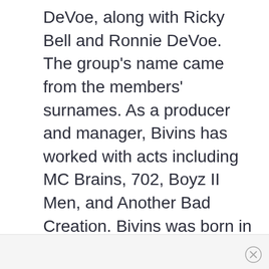DeVoe, along with Ricky Bell and Ronnie DeVoe. The group's name came from the members' surnames. As a producer and manager, Bivins has worked with acts including MC Brains, 702, Boyz II Men, and Another Bad Creation. Bivins was born in Boston, MA, on August 10, 1968. He is married with four daughters: Savannah, Shilah, Starlah, and Sanaah.